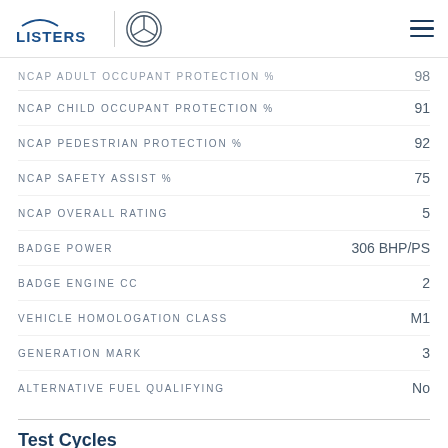LISTERS | Mercedes-Benz
NCAP ADULT OCCUPANT PROTECTION %  98
NCAP CHILD OCCUPANT PROTECTION %  91
NCAP PEDESTRIAN PROTECTION %  92
NCAP SAFETY ASSIST %  75
NCAP OVERALL RATING  5
BADGE POWER  306 BHP/PS
BADGE ENGINE CC  2
VEHICLE HOMOLOGATION CLASS  M1
GENERATION MARK  3
ALTERNATIVE FUEL QUALIFYING  No
Test Cycles
EMISSIONS TEST CYCLE  Wltp